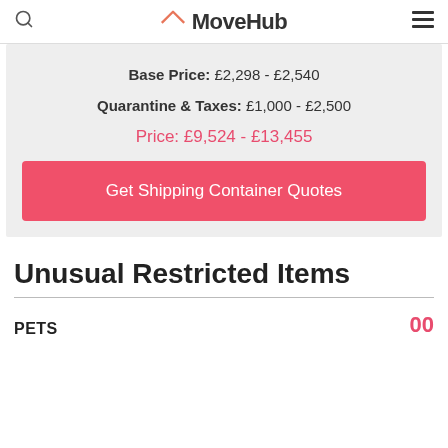MoveHub
Base Price: £2,298 - £2,540
Quarantine & Taxes: £1,000 - £2,500
Price: £9,524 - £13,455
Get Shipping Container Quotes
Unusual Restricted Items
PETS